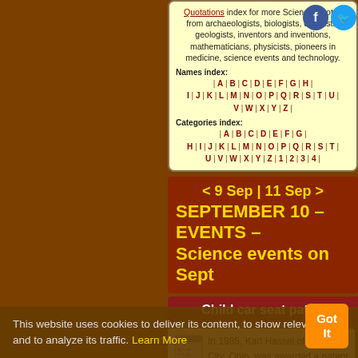Science and Scientist Quotations index for more Science Quotes from archaeologists, biologists, chemists, geologists, inventors and inventions, mathematicians, physicists, pioneers in medicine, science events and technology.
Names index: | A | B | C | D | E | F | G | H | I | J | K | L | M | N | O | P | Q | R | S | T | U | V | W | X | Y | Z |
Categories index: | A | B | C | D | E | F | G | H | I | J | K | L | M | N | O | P | Q | R | S | T | U | V | W | X | Y | Z | 1 | 2 | 3 | 4 |
< 9 Sep | 11 Sep > SEPTEMBER 10 – EVENTS – Science events on Sept
Child car seat patent
In 1985, Karl Hassel of Plain City, Ohio, was awarded a patent for his built-in child's
This website uses cookies to deliver its content, to show relevant ads and to analyze its traffic. Learn More
Got It